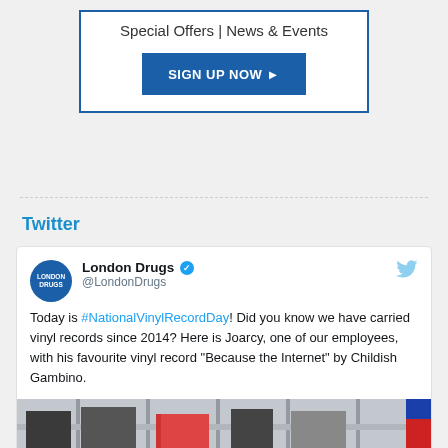Special Offers | News & Events
[Figure (screenshot): Blue 'SIGN UP NOW' button with arrow]
Twitter
[Figure (screenshot): Embedded tweet from @LondonDrugs with text about National Vinyl Record Day and a photo of an employee named Joarcy holding a vinyl record in a London Drugs store]